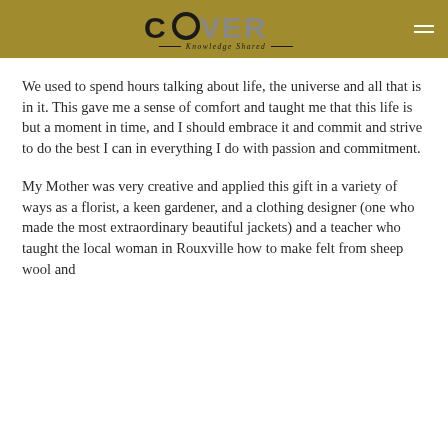COVER Knowledge Shared
We used to spend hours talking about life, the universe and all that is in it. This gave me a sense of comfort and taught me that this life is but a moment in time, and I should embrace it and commit and strive to do the best I can in everything I do with passion and commitment.
My Mother was very creative and applied this gift in a variety of ways as a florist, a keen gardener, and a clothing designer (one who made the most extraordinary beautiful jackets) and a teacher who taught the local woman in Rouxville how to make felt from sheep wool and